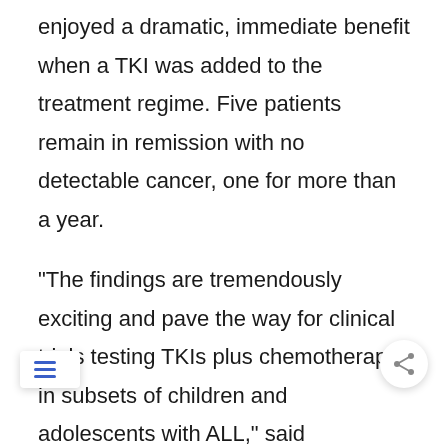enjoyed a dramatic, immediate benefit when a TKI was added to the treatment regime. Five patients remain in remission with no detectable cancer, one for more than a year.
“The findings are tremendously exciting and pave the way for clinical trials testing TKIs plus chemotherapy in subsets of children and adolescents with ALL,” said corresponding author Stephen P. Hunger, M.D., professor of pediatrics at the University of Colorado School of Medicine and chair of the COG ALL Committee. Investigat from the COG and St. Jude have developed plans to